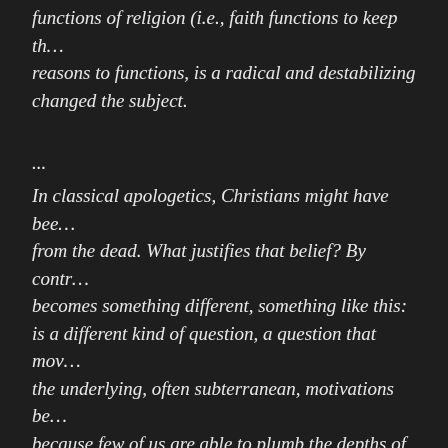functions of religion (i.e., faith functions to keep th… reasons to functions, is a radical and destabilizing … changed the subject.
...
In classical apologetics, Christians might have bee… from the dead. What justifies that belief? By contr… becomes something different, something like this: … is a different kind of question, a question that mov… the underlying, often subterranean, motivations be… because few of us are able to plumb the depths of … Resurrection because I am motivated by a deep an… very real possibility. If so, hasn't my faith been rend… with an unsettling reality? Suddenly we are no lon…